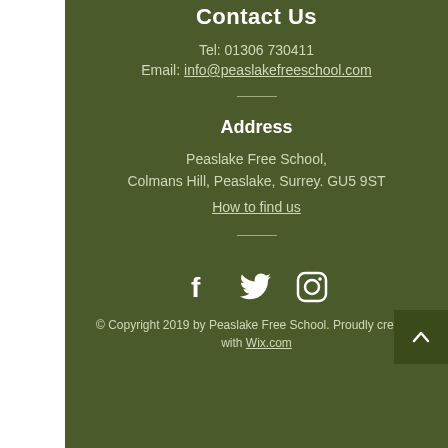Contact Us
Tel: 01306 730411
Email: info@peaslakefreeschool.com
Address
Peaslake Free School,
Colmans Hill, Peaslake, Surrey. GU5 9ST
How to find us
[Figure (illustration): Social media icons: Facebook, Twitter, Instagram]
© Copyright 2019 by Peaslake Free School. Proudly created with Wix.com